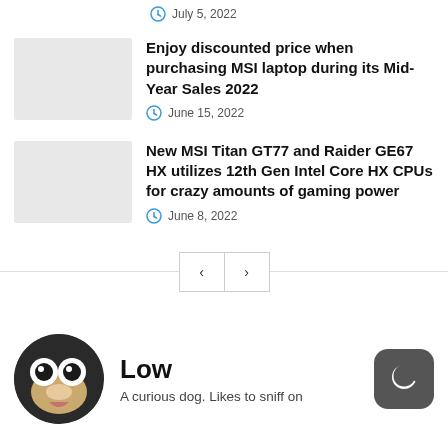July 5, 2022
Enjoy discounted price when purchasing MSI laptop during its Mid-Year Sales 2022
June 15, 2022
New MSI Titan GT77 and Raider GE67 HX utilizes 12th Gen Intel Core HX CPUs for crazy amounts of gaming power
June 8, 2022
Low
A curious dog. Likes to sniff on